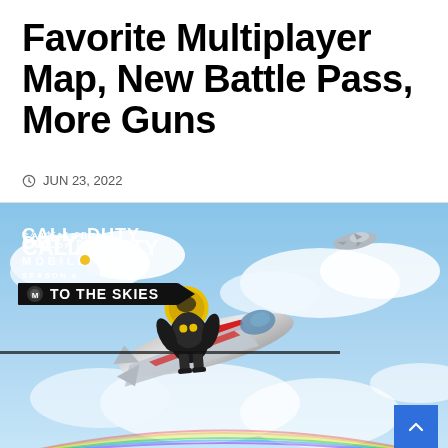Favorite Multiplayer Map, New Battle Pass, More Guns
JUN 23, 2022
[Figure (photo): Call of Duty Mobile Season 6 'To The Skies' promotional image showing a soldier riding a jet aircraft through cloudy skies with another aircraft in the background.]